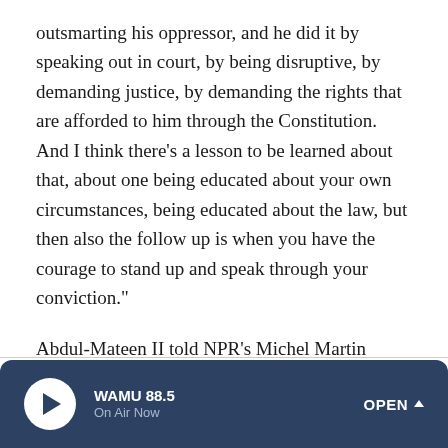outsmarting his oppressor, and he did it by speaking out in court, by being disruptive, by demanding justice, by demanding the rights that are afforded to him through the Constitution. And I think there's a lesson to be learned about that, about one being educated about your own circumstances, being educated about the law, but then also the follow up is when you have the courage to stand up and speak through your conviction."
Abdul-Mateen II told NPR's Michel Martin about the connection between the film and the current fight for racial justice, and the weight of portraying such an important figure in U.S. history.
WAMU 88.5 | On Air Now | OPEN